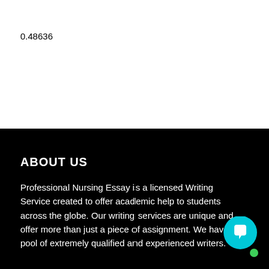0.48636
ABOUT US
Professional Nursing Essay is a licensed Writing Service created to offer academic help to students across the globe. Our writing services are unique and offer more than just a piece of assignment. We have a pool of extremely qualified and experienced writers.
[Figure (illustration): Cyan circular chat bubble icon with white speech bubble symbol, and a small green dot below it, positioned at bottom right corner]